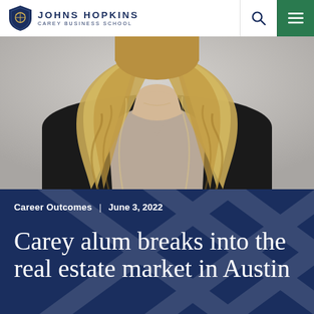Johns Hopkins Carey Business School
[Figure (photo): Professional headshot of a woman with long blonde hair wearing a black blazer and gray top, photographed against a light gray background]
Career Outcomes | June 3, 2022
Carey alum breaks into the real estate market in Austin